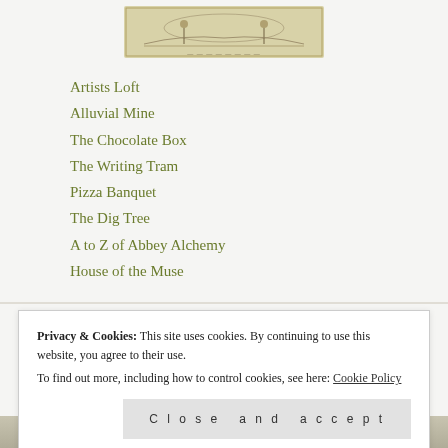[Figure (illustration): A historical engraving or illustration, appears to be a banknote-style vignette with figures and a landscape scene.]
Artists Loft
Alluvial Mine
The Chocolate Box
The Writing Tram
Pizza Banquet
The Dig Tree
A to Z of Abbey Alchemy
House of the Muse
ADVENT CALENDARS
Privacy & Cookies: This site uses cookies. By continuing to use this website, you agree to their use.
To find out more, including how to control cookies, see here: Cookie Policy
Close and accept